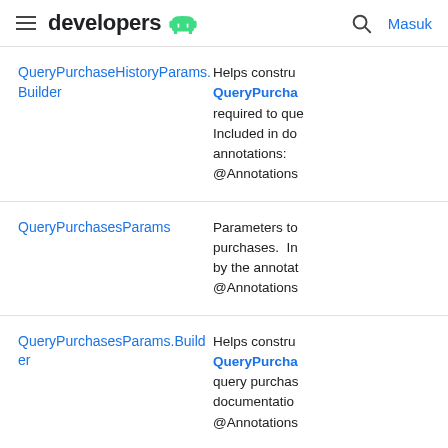developers [android logo] | search | Masuk
| Class | Description |
| --- | --- |
| QueryPurchaseHistoryParams.Builder | Helps construc QueryPurcha required to que Included in doc annotations: @Annotations |
| QueryPurchasesParams | Parameters to purchases.  In by the annotat @Annotations |
| QueryPurchasesParams.Builder | Helps construc QueryPurcha query purchas documentation @Annotations |